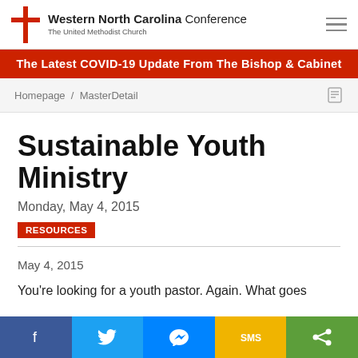Western North Carolina Conference — The United Methodist Church
The Latest COVID-19 Update From The Bishop & Cabinet
Homepage / MasterDetail
Sustainable Youth Ministry
Monday, May 4, 2015
RESOURCES
May 4, 2015
You're looking for a youth pastor. Again. What goes